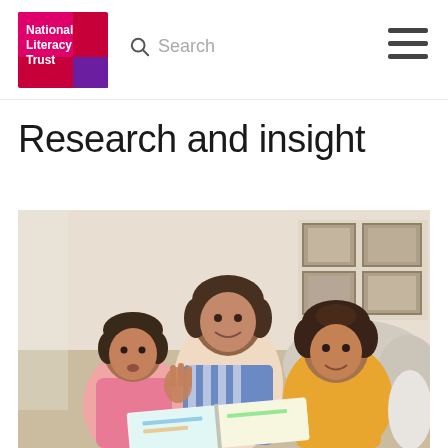National Literacy Trust | Search
Research and insight
[Figure (photo): A woman and two young children sitting on a sofa reading a book together. One child wears a pink top, the other wears a yellow/orange jumper. Framed pictures on the wall in the background.]